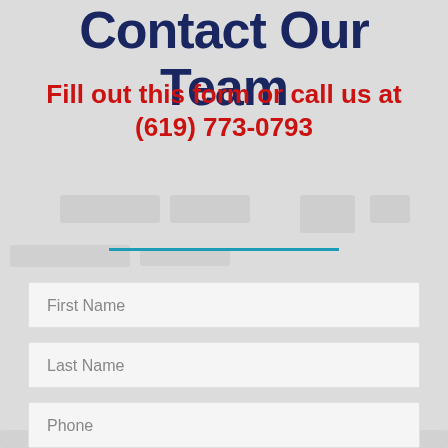Contact Our Team
Fill out this form or call us at (619) 773-0793
First Name
Last Name
Phone